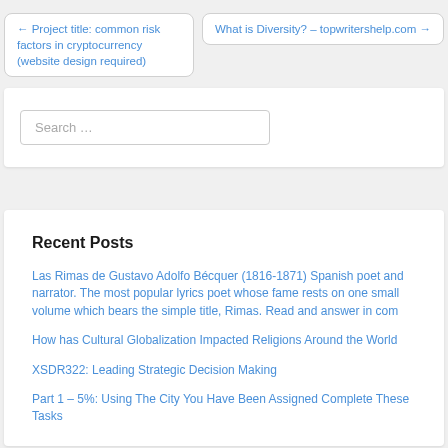← Project title: common risk factors in cryptocurrency (website design required)
What is Diversity? – topwritershelp.com →
Search …
Recent Posts
Las Rimas de Gustavo Adolfo Bécquer (1816-1871) Spanish poet and narrator. The most popular lyrics poet whose fame rests on one small volume which bears the simple title, Rimas. Read and answer in com
How has Cultural Globalization Impacted Religions Around the World
XSDR322: Leading Strategic Decision Making
Part 1 – 5%: Using The City You Have Been Assigned Complete These Tasks